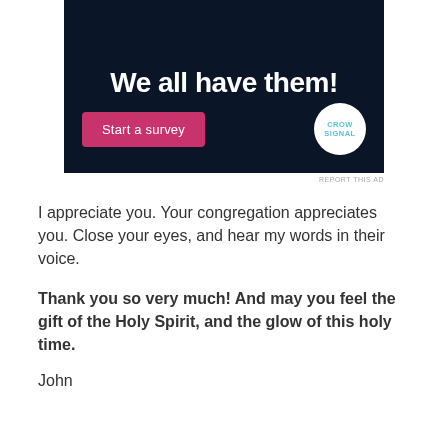[Figure (illustration): Advertisement banner with dark navy background. Title text 'We all have them!' in white bold font at top. A pink 'Start a survey' button on the lower left, and a white circular Crowdsignal logo on the lower right.]
REPORT THIS AD
I appreciate you. Your congregation appreciates you. Close your eyes, and hear my words in their voice.
Thank you so very much! And may you feel the gift of the Holy Spirit, and the glow of this holy time.
John